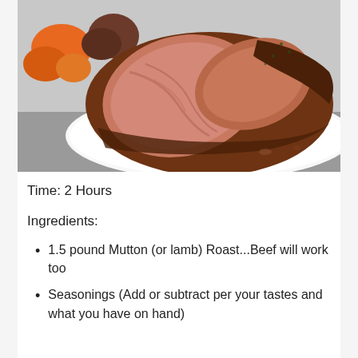[Figure (photo): A roast (mutton or lamb) sliced on a white plate, showing pink interior meat with a seasoned crust, accompanied by carrots and baby potatoes on a dark surface.]
Time: 2 Hours
Ingredients:
1.5 pound Mutton (or lamb) Roast...Beef will work too
Seasonings (Add or subtract per your tastes and what you have on hand)